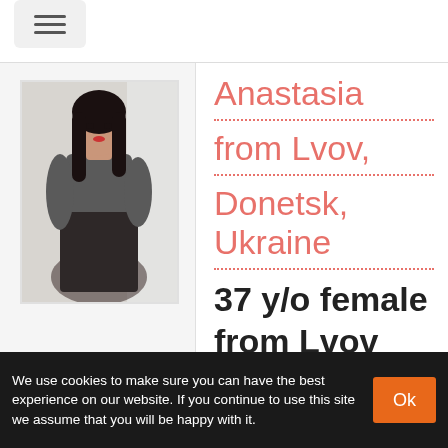☰ (hamburger menu button)
[Figure (photo): Portrait photo of a young woman with long dark hair, wearing a dark cropped top and black skirt, posing near a window]
Anastasia from Lvov, Donetsk, Ukraine
37 y/o female
from Lvov
We use cookies to make sure you can have the best experience on our website. If you continue to use this site we assume that you will be happy with it.  Ok